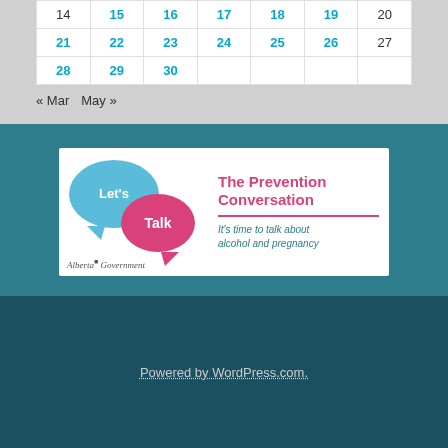| 14 | 15 | 16 | 17 | 18 | 19 | 20 |
| 21 | 22 | 23 | 24 | 25 | 26 | 27 |
| 28 | 29 | 30 |  |  |  |  |
« Mar   May »
[Figure (logo): Let's Talk – The Prevention Conversation. It's time to talk about alcohol and pregnancy. Alberta Government logo.]
Powered by WordPress.com.